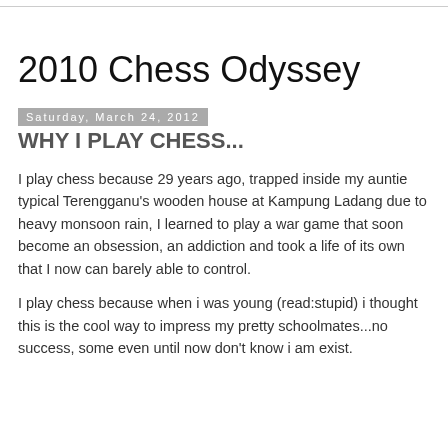2010 Chess Odyssey
Saturday, March 24, 2012
WHY I PLAY CHESS...
I play chess because 29 years ago, trapped inside my auntie typical Terengganu's wooden house at Kampung Ladang due to heavy monsoon rain, I learned to play a war game that soon become an obsession, an addiction and took a life of its own that I now can barely able to control.
I play chess because when i was young (read:stupid) i thought this is the cool way to impress my pretty schoolmates...no success, some even until now don't know i am exist.